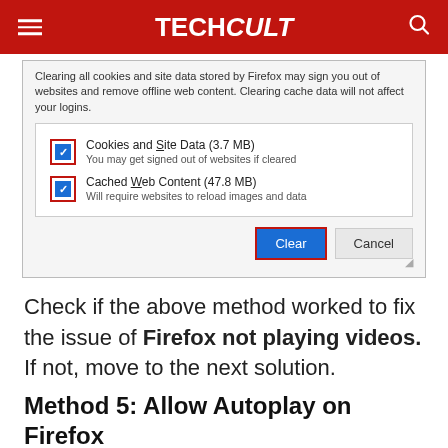TECHCult
[Figure (screenshot): Firefox Clear Data dialog showing two checked checkboxes: 'Cookies and Site Data (3.7 MB)' and 'Cached Web Content (47.8 MB)', with Clear and Cancel buttons. The Clear button and both checkboxes are highlighted with red borders.]
Check if the above method worked to fix the issue of Firefox not playing videos. If not, move to the next solution.
Method 5: Allow Autoplay on Firefox